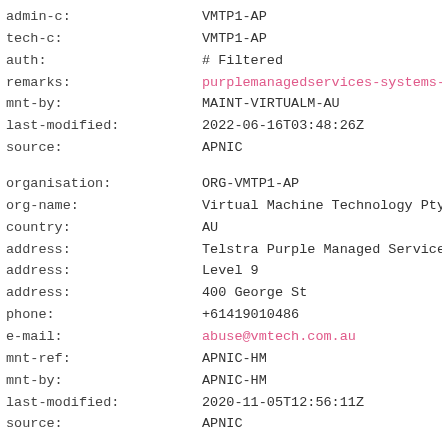admin-c:        VMTP1-AP
tech-c:         VMTP1-AP
auth:           # Filtered
remarks:        purplemanagedservices-systems-...
mnt-by:         MAINT-VIRTUALM-AU
last-modified:  2022-06-16T03:48:26Z
source:         APNIC
organisation:   ORG-VMTP1-AP
org-name:       Virtual Machine Technology Pty
country:        AU
address:        Telstra Purple Managed Service
address:        Level 9
address:        400 George St
phone:          +61419010486
e-mail:         abuse@vmtech.com.au
mnt-ref:        APNIC-HM
mnt-by:         APNIC-HM
last-modified:  2020-11-05T12:56:11Z
source:         APNIC
role:           ABUSE VIRTUALMAU